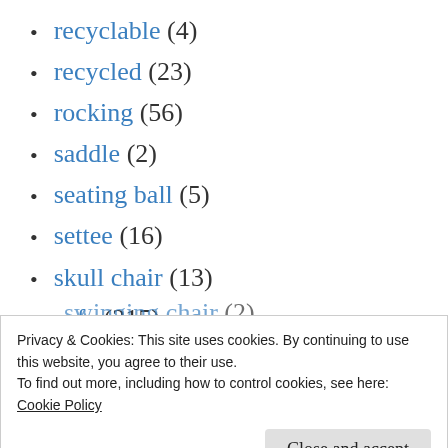recyclable (4)
recycled (23)
rocking (56)
saddle (2)
seating ball (5)
settee (16)
skull chair (13)
sofa (215)
stool (252)
street bench (7)
swinging chair (2)
Privacy & Cookies: This site uses cookies. By continuing to use this website, you agree to their use. To find out more, including how to control cookies, see here: Cookie Policy
tumblrd (920)